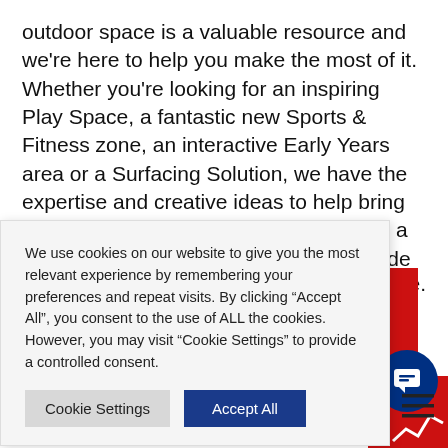outdoor space is a valuable resource and we're here to help you make the most of it.  Whether you're looking for an inspiring Play Space, a fantastic new Sports & Fitness zone, an interactive Early Years area or a Surfacing Solution, we have the expertise and creative ideas to help bring your project to life. Additionally, we offer a range of surfacing solutions which include Artificial Grass, Wetpour Rubber Bonded Mulch, Grass Mats and many more.Visit
more.
We use cookies on our website to give you the most relevant experience by remembering your preferences and repeat visits. By clicking “Accept All”, you consent to the use of ALL the cookies. However, you may visit "Cookie Settings" to provide a controlled consent.
Cookie Settings
Accept All
from
E KIT.